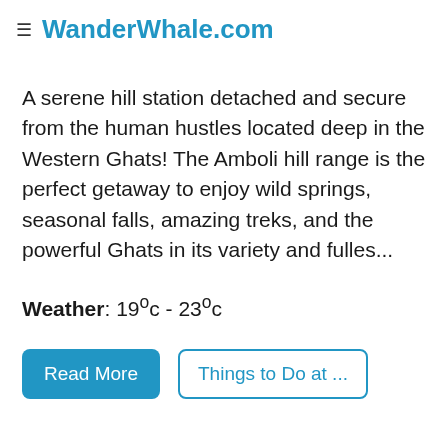≡ WanderWhale.com
A serene hill station detached and secure from the human hustles located deep in the Western Ghats! The Amboli hill range is the perfect getaway to enjoy wild springs, seasonal falls, amazing treks, and the powerful Ghats in its variety and fulles...
Weather: 19°c - 23°c
Read More | Things to Do at ...